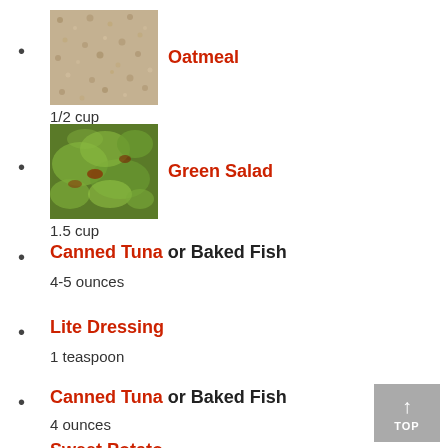Oatmeal
1/2 cup
Green Salad
1.5 cup
Canned Tuna or Baked Fish
4-5 ounces
Lite Dressing
1 teaspoon
Canned Tuna or Baked Fish
4 ounces
Sweet Potato